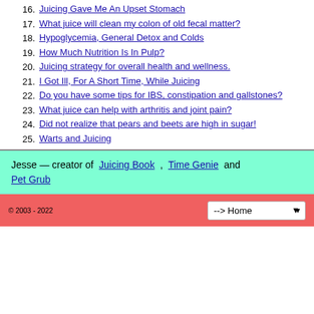16. Juicing Gave Me An Upset Stomach
17. What juice will clean my colon of old fecal matter?
18. Hypoglycemia, General Detox and Colds
19. How Much Nutrition Is In Pulp?
20. Juicing strategy for overall health and wellness.
21. I Got Ill, For A Short Time, While Juicing
22. Do you have some tips for IBS, constipation and gallstones?
23. What juice can help with arthritis and joint pain?
24. Did not realize that pears and beets are high in sugar!
25. Warts and Juicing
Jesse — creator of Juicing Book , Time Genie and Pet Grub
© 2003 - 2022  --> Home